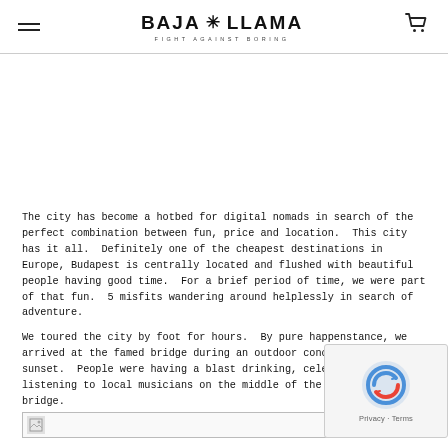BAJA LLAMA — FIGHT AGAINST BORING
The city has become a hotbed for digital nomads in search of the perfect combination between fun, price and location. This city has it all. Definitely one of the cheapest destinations in Europe, Budapest is centrally located and flushed with beautiful people having good time. For a brief period of time, we were part of that fun. 5 misfits wandering around helplessly in search of adventure.
We toured the city by foot for hours. By pure happenstance, we arrived at the famed bridge during an outdoor concert during sunset. People were having a blast drinking, celebrating and listening to local musicians on the middle of the closed off bridge.
[Figure (photo): Broken image placeholder at bottom of page]